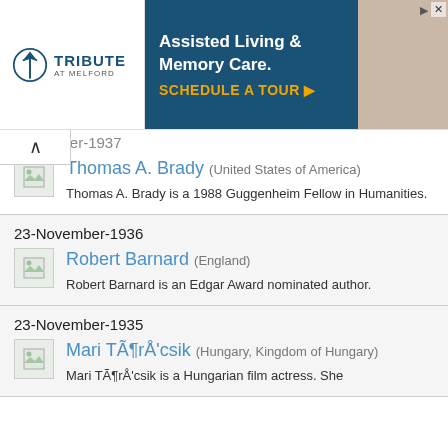[Figure (other): Advertisement banner for Tribute at Melford - Assisted Living & Memory Care with 'Schedule a Tour' call to action]
November-1937
[Figure (other): Placeholder thumbnail image icon]
Thomas A. Brady (United States of America)
Thomas A. Brady is a 1988 Guggenheim Fellow in Humanities.
23-November-1936
[Figure (other): Placeholder thumbnail image icon]
Robert Barnard (England)
Robert Barnard is an Edgar Award nominated author.
23-November-1935
[Figure (other): Placeholder thumbnail image icon]
Mari TÃ¶rÅ'csik (Hungary, Kingdom of Hungary)
Mari TÃ¶rÅ'csik is a Hungarian film actress. She